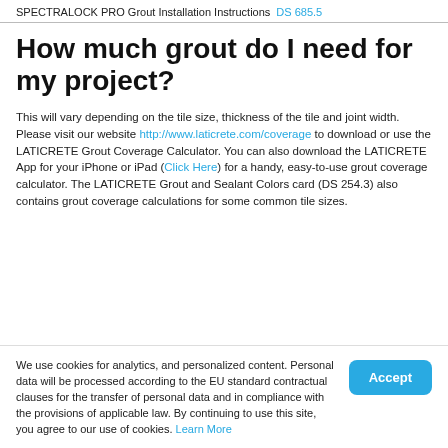SPECTRALOCK PRO Grout Installation Instructions DS 685.5
How much grout do I need for my project?
This will vary depending on the tile size, thickness of the tile and joint width. Please visit our website http://www.laticrete.com/coverage to download or use the LATICRETE Grout Coverage Calculator. You can also download the LATICRETE App for your iPhone or iPad (Click Here) for a handy, easy-to-use grout coverage calculator. The LATICRETE Grout and Sealant Colors card (DS 254.3) also contains grout coverage calculations for some common tile sizes.
We use cookies for analytics, and personalized content. Personal data will be processed according to the EU standard contractual clauses for the transfer of personal data and in compliance with the provisions of applicable law. By continuing to use this site, you agree to our use of cookies. Learn More